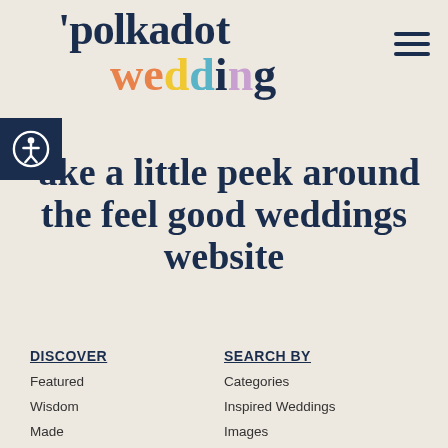polkadot wedding
Take a little peek around the feel good weddings website
DISCOVER
Featured
Wisdom
Made
You
Honeymoons
Podcast
Shop
DIRECTORIES
SEARCH BY
Categories
Inspired Weddings
Images
Colour
Location
Style
Setting
Season
Monthly Issues